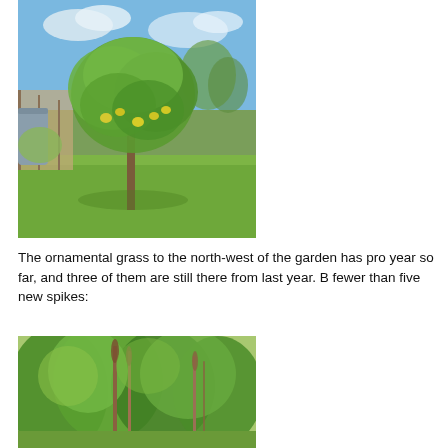[Figure (photo): A lemon or citrus tree with yellow fruit growing in a grassy garden area, with a fence, water tank, and trees visible in the background under a partly cloudy blue sky.]
The ornamental grass to the north-west of the garden has pro year so far, and three of them are still there from last year. B fewer than five new spikes:
[Figure (photo): Dense green trees and shrubs in a garden, with some dry brown flower spikes visible among the foliage.]